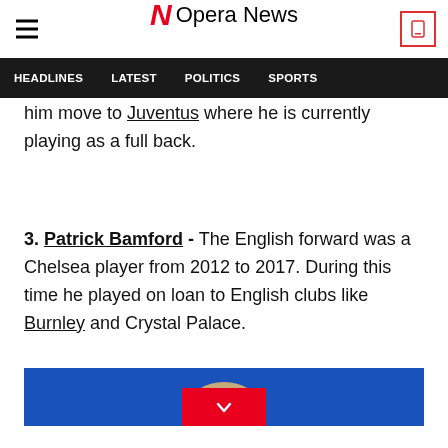Opera News
HEADLINES  LATEST  POLITICS  SPORTS
him move to Juventus where he is currently playing as a full back.
3. Patrick Bamford - The English forward was a Chelsea player from 2012 to 2017. During this time he played on loan to English clubs like Burnley and Crystal Palace.
[Figure (photo): Photo of Patrick Bamford in a blue Chelsea kit, showing top of head against blue background]
[Figure (other): Red scroll-down button with chevron icon]